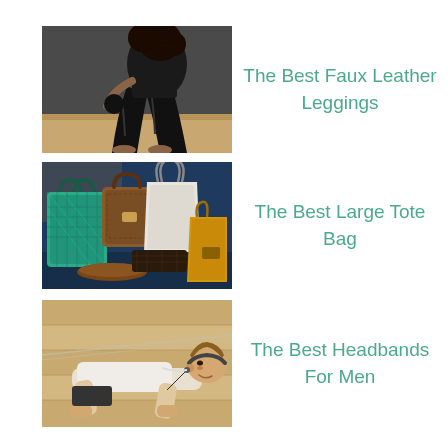[Figure (photo): Woman wearing black faux leather leggings, sitting posed against a dark wall]
The Best Faux Leather Leggings
[Figure (photo): Collection of large tote bags including teal, brown leather, white, yellow, and dark patterned bags on a blue surface]
The Best Large Tote Bag
[Figure (photo): Man wearing a headband doing a plank/push-up exercise on a wooden floor]
The Best Headbands For Men